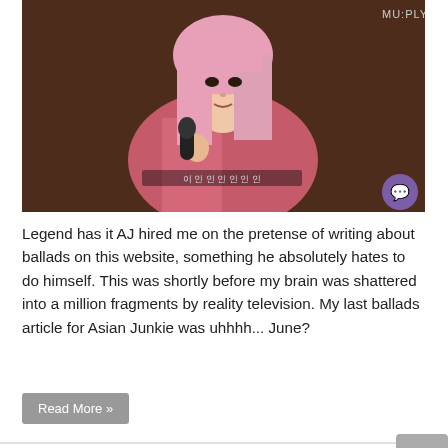[Figure (photo): A young woman with long pink hair wearing a pink plaid blazer, holding a microphone and performing on stage. 'MU:PLY' watermark visible in upper right. Purple speech bubble icon in lower right.]
Legend has it AJ hired me on the pretense of writing about ballads on this website, something he absolutely hates to do himself. This was shortly before my brain was shattered into a million fragments by reality television. My last ballads article for Asian Junkie was uhhhh... June?
Read More »
Fu Yaning says viral diss of CLC's Yujin on 'Girls Planet 999' was